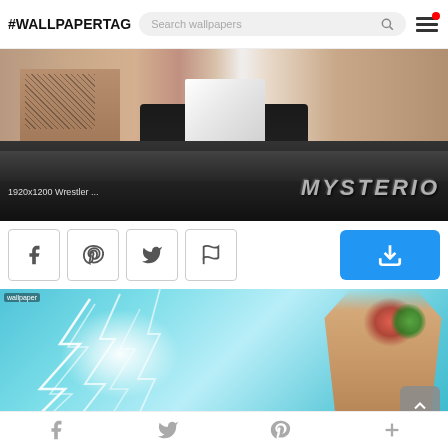#WALLPAPERTAG  Search wallpapers
[Figure (photo): Wrestler wallpaper thumbnail showing muscular torso with tattoos, black and white costume pieces, dark smoke background with MYSTERIO text. Label: 1920x1200 Wrestler...]
1920x1200 Wrestler...
[Figure (infographic): Social sharing buttons row: Facebook, Pinterest, Twitter, Flag icons in bordered boxes, and a blue download button on the right]
[Figure (photo): Rey Mysterio WWE wrestler wallpaper with teal/blue background, lightning bolts, masked wrestler in green and red mask posing]
f  Twitter  p  +